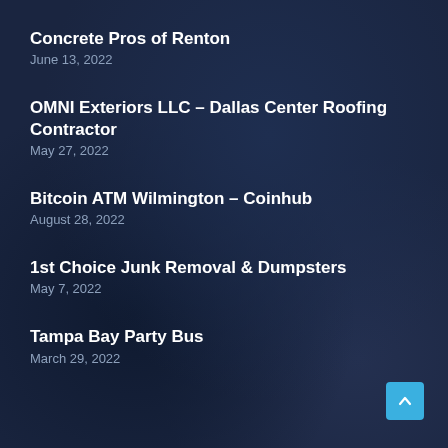Concrete Pros of Renton
June 13, 2022
OMNI Exteriors LLC – Dallas Center Roofing Contractor
May 27, 2022
Bitcoin ATM Wilmington – Coinhub
August 28, 2022
1st Choice Junk Removal & Dumpsters
May 7, 2022
Tampa Bay Party Bus
March 29, 2022